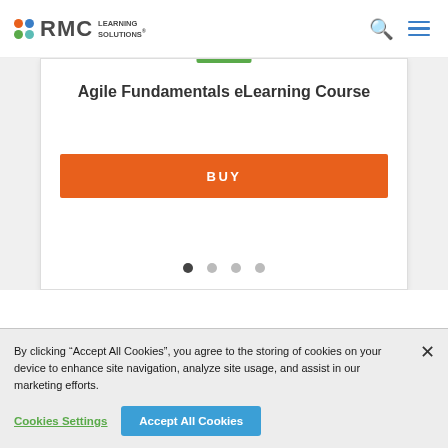[Figure (logo): RMC Learning Solutions logo with colored dots and text]
Agile Fundamentals eLearning Course
[Figure (other): Orange BUY button for Agile Fundamentals eLearning Course]
[Figure (other): Carousel pagination dots, 4 dots with first active]
By clicking “Accept All Cookies”, you agree to the storing of cookies on your device to enhance site navigation, analyze site usage, and assist in our marketing efforts.
Cookies Settings
Accept All Cookies